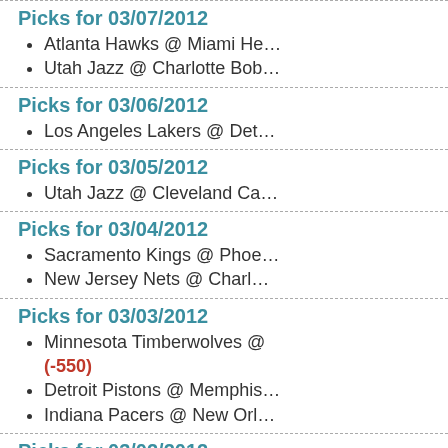Picks for 03/07/2012
Atlanta Hawks @ Miami He…
Utah Jazz @ Charlotte Bob…
Picks for 03/06/2012
Los Angeles Lakers @ Det…
Picks for 03/05/2012
Utah Jazz @ Cleveland Ca…
Picks for 03/04/2012
Sacramento Kings @ Phoe…
New Jersey Nets @ Charl…
Picks for 03/03/2012
Minnesota Timberwolves @ … (-550)
Detroit Pistons @ Memphis…
Indiana Pacers @ New Orl…
Picks for 03/02/2012
Chicago Bulls @ Cleveland…
Memphis Grizzlies @ Toro…
Picks for 02/29/2012
Toronto Raptors @ New O…